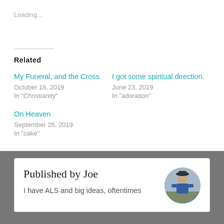Loading...
Related
My Funeral, and the Cross
October 18, 2019
In "Christianity"
I got some spiritual direction.
June 23, 2019
In "adoration"
On Heaven
September 26, 2019
In "cake"
Published by Joe
I have ALS and big ideas, oftentimes